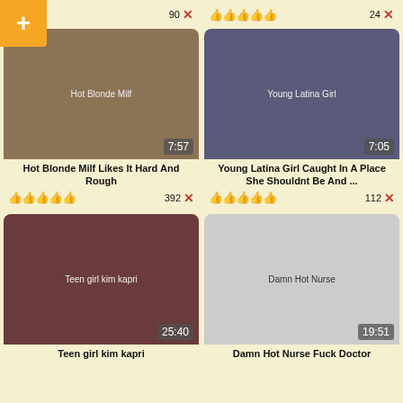[Figure (screenshot): Adult video thumbnail grid with 4 video cards showing thumbnails, titles, durations, and like/dislike counts. Top partial row shows like/dislike counts only. Cards include: Hot Blonde Milf Likes It Hard And Rough (7:57, 392 dislikes), Young Latina Girl Caught In A Place She Shouldnt Be And ... (7:05, 112 dislikes), Teen girl kim kapri (25:40), Damn Hot Nurse Fuck Doctor (19:51). Top row shows partial cards with 90 and 24 dislike counts.]